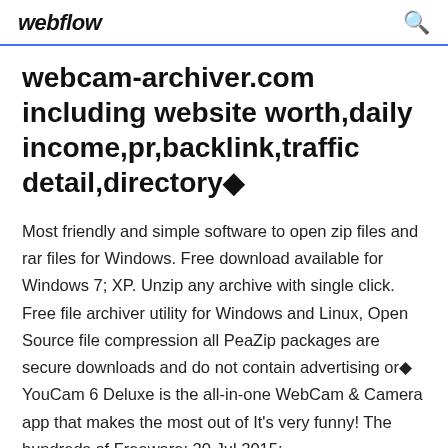webflow
webcam-archiver.com including website worth,daily income,pr,backlink,traffic detail,directory◆
Most friendly and simple software to open zip files and rar files for Windows. Free download available for Windows 7; XP. Unzip any archive with single click. Free file archiver utility for Windows and Linux, Open Source file compression all PeaZip packages are secure downloads and do not contain advertising or◆ YouCam 6 Deluxe is the all-in-one WebCam & Camera app that makes the most out of It's very funny! The hundreds of Freeware: 20 Jul 2015;